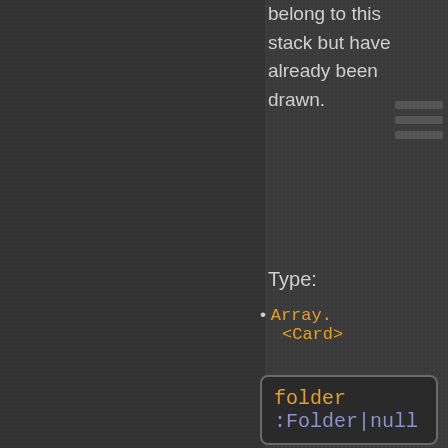belong to this stack but have already been drawn.
Type:
Array.<Card>
folder :Folder|null
Inherited From: ClientDocu...
Return a reference to the Folder to which this Document